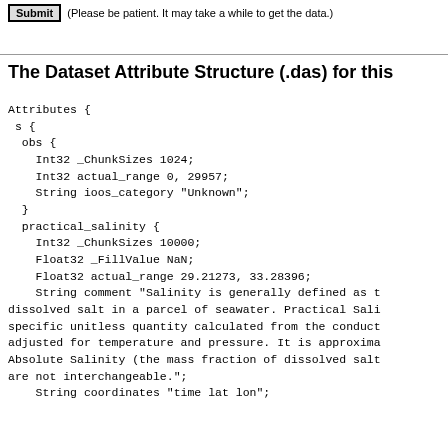Submit (Please be patient. It may take a while to get the data.)
The Dataset Attribute Structure (.das) for this
Attributes {
 s {
  obs {
    Int32 _ChunkSizes 1024;
    Int32 actual_range 0, 29957;
    String ioos_category "Unknown";
  }
  practical_salinity {
    Int32 _ChunkSizes 10000;
    Float32 _FillValue NaN;
    Float32 actual_range 29.21273, 33.28396;
    String comment "Salinity is generally defined as t dissolved salt in a parcel of seawater. Practical Sali specific unitless quantity calculated from the conduct adjusted for temperature and pressure. It is approxima Absolute Salinity (the mass fraction of dissolved salt are not interchangeable.";
    String coordinates "time lat lon";